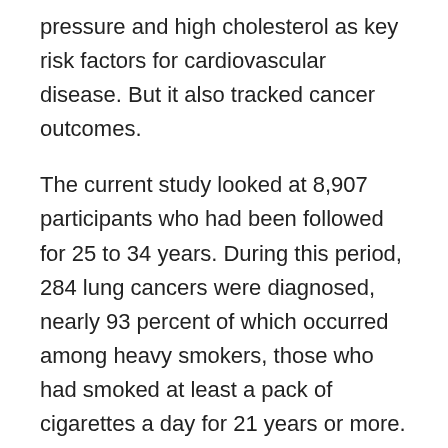pressure and high cholesterol as key risk factors for cardiovascular disease. But it also tracked cancer outcomes.
The current study looked at 8,907 participants who had been followed for 25 to 34 years. During this period, 284 lung cancers were diagnosed, nearly 93 percent of which occurred among heavy smokers, those who had smoked at least a pack of cigarettes a day for 21 years or more.
Five years after quitting, the risk of developing lung cancer in former heavy smokers dropped by 39 percent compared to current smokers, and continued to fall as time went on. Yet even 25 years after quitting, their lung-cancer risk remained over threefold higher compared to people who had never smoked.